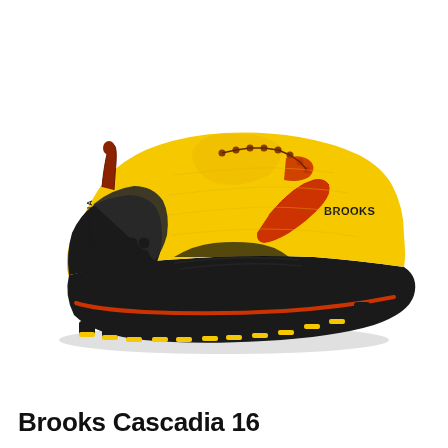[Figure (photo): A Brooks Cascadia 16 trail running shoe photographed in profile view from the left side. The shoe features a bright yellow upper with black and red-orange accents. The midsole and outsole are black with red stripe detail and aggressive lugged tread. The Brooks logo appears in red-orange on the side of the shoe. Brown/dark laces are visible. The shoe sits on a white background.]
Brooks Cascadia 16